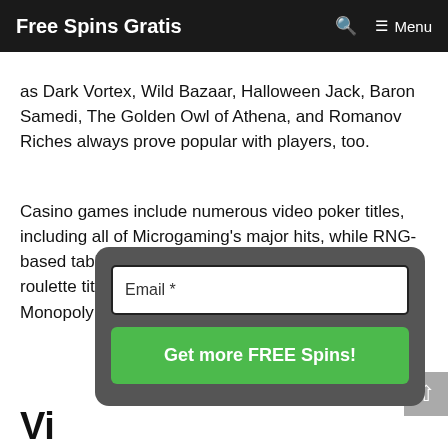Free Spins Gratis  🔍  ≡ Menu
as Dark Vortex, Wild Bazaar, Halloween Jack, Baron Samedi, The Golden Owl of Athena, and Romanov Riches always prove popular with players, too.
Casino games include numerous video poker titles, including all of Microgaming's major hits, while RNG-based table games include many different possible roulette titles. Expect to find 3D European Roulette, Monopoly: Roulette Tyco..., Astr..., Mas... of the r...
[Figure (other): Email subscription modal with an email input field and a green 'Get more FREE Spins!' button, overlaid on dark grey rounded rectangle background]
Vi...